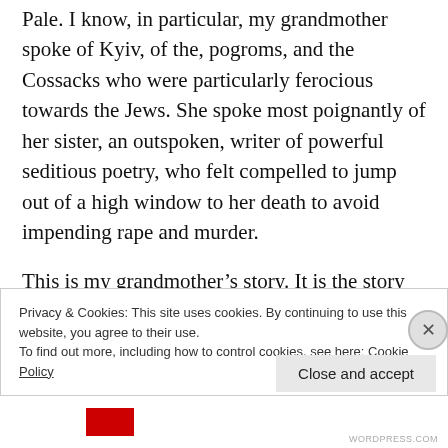Pale. I know, in particular, my grandmother spoke of Kyiv, of the, pogroms, and the Cossacks who were particularly ferocious towards the Jews. She spoke most poignantly of her sister, an outspoken, writer of powerful seditious poetry, who felt compelled to jump out of a high window to her death to avoid impending rape and murder.
This is my grandmother’s story. It is the story that has taken the form of a haunting within me. It is a wound, an undefined darkness that is always
Privacy & Cookies: This site uses cookies. By continuing to use this website, you agree to their use.
To find out more, including how to control cookies, see here: Cookie Policy
Close and accept